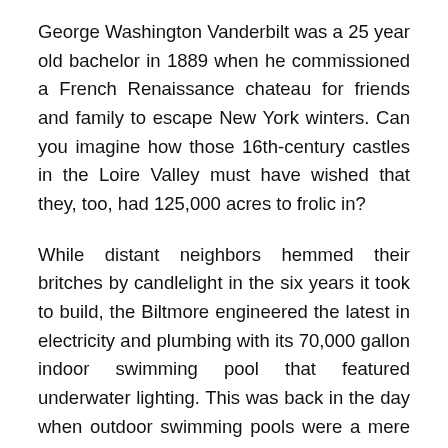George Washington Vanderbilt was a 25 year old bachelor in 1889 when he commissioned a French Renaissance chateau for friends and family to escape New York winters. Can you imagine how those 16th-century castles in the Loire Valley must have wished that they, too, had 125,000 acres to frolic in?
While distant neighbors hemmed their britches by candlelight in the six years it took to build, the Biltmore engineered the latest in electricity and plumbing with its 70,000 gallon indoor swimming pool that featured underwater lighting. This was back in the day when outdoor swimming pools were a mere curiosity. Architect Richard Morris Hunt (designer of NYC's Grand Central Station) wired the house for both AC and DC currents through thick stone walls while Edison and Tesla wrestled for the industry standard.